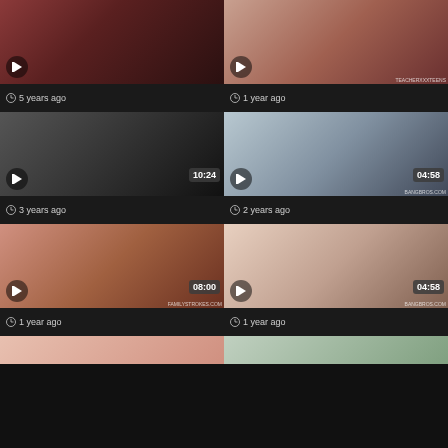[Figure (screenshot): Video thumbnail grid showing 6 video cards in 2 columns with timestamps and age labels. Row 1: two thumbnails without duration badges, showing '5 years ago' and '1 year ago'. Row 2: two thumbnails with duration badges 10:24 and 04:58, showing '3 years ago' and '2 years ago'. Row 3: two thumbnails with duration badges 08:00 and 04:58, showing '1 year ago' and '1 year ago'. Row 4: partial thumbnails at bottom.]